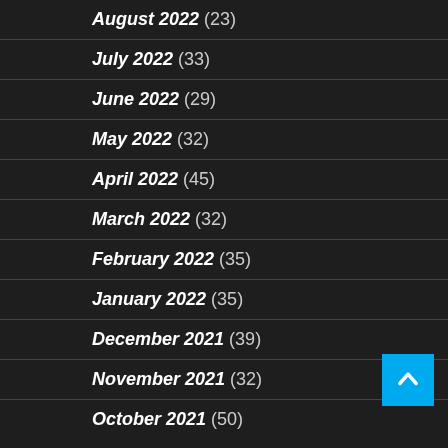August 2022 (23)
July 2022 (33)
June 2022 (29)
May 2022 (32)
April 2022 (45)
March 2022 (32)
February 2022 (35)
January 2022 (35)
December 2021 (39)
November 2021 (32)
October 2021 (50)